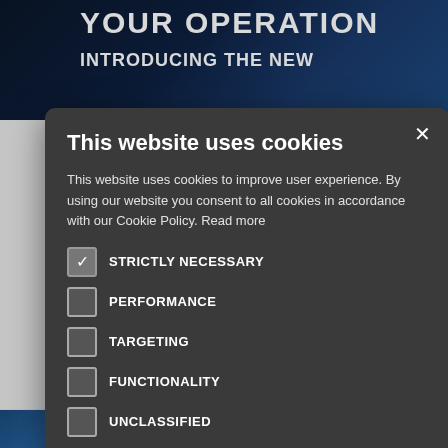[Figure (screenshot): Dark blue background banner with text 'YOUR OPERATION' and 'INTRODUCING THE NEW' in white uppercase letters]
[Figure (screenshot): Cookie consent modal dialog with title 'This website uses cookies', body text, checkboxes for STRICTLY NECESSARY, PERFORMANCE, TARGETING, FUNCTIONALITY, UNCLASSIFIED, and buttons ACCEPT ALL and DECLINE ALL]
This website uses cookies
This website uses cookies to improve user experience. By using our website you consent to all cookies in accordance with our Cookie Policy. Read more
STRICTLY NECESSARY
PERFORMANCE
TARGETING
FUNCTIONALITY
UNCLASSIFIED
ACCEPT ALL
DECLINE ALL
SHOW DETAILS
BT BRINGS 5G TO BIRMINGHAM 22